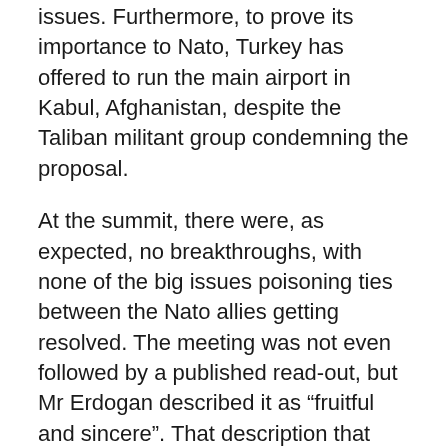issues. Furthermore, to prove its importance to Nato, Turkey has offered to run the main airport in Kabul, Afghanistan, despite the Taliban militant group condemning the proposal.
At the summit, there were, as expected, no breakthroughs, with none of the big issues poisoning ties between the Nato allies getting resolved. The meeting was not even followed by a published read-out, but Mr Erdogan described it as “fruitful and sincere”. That description that may convince his fans at home, but the Turkish lira was not impressed – it fell against the dollar after the talks. Mr Erdogan’s uncompromising stance on the S-400 front will undoubtedly serve as a major obstacle to any joint military co-operation between the US and Turkey in the future.
There is a saying that one who rides two horses at once will split asunder. That sums up the current affairs of Mr